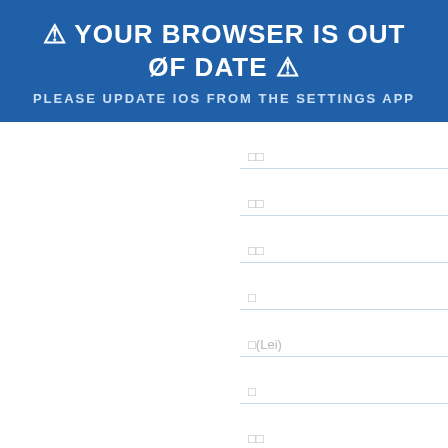⚠ YOUR BROWSER IS OUT OF DATE ⚠
PLEASE UPDATE IOS FROM THE SETTINGS APP
□□
□□
□□
□
□(Lei)
□
□□
□